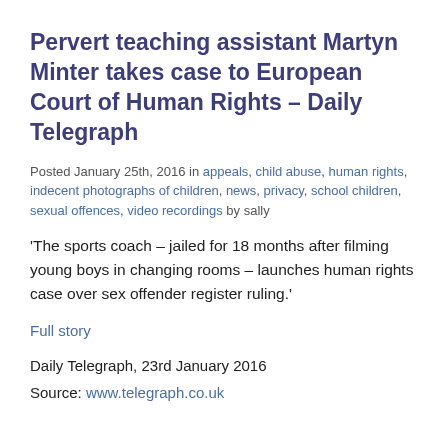Pervert teaching assistant Martyn Minter takes case to European Court of Human Rights – Daily Telegraph
Posted January 25th, 2016 in appeals, child abuse, human rights, indecent photographs of children, news, privacy, school children, sexual offences, video recordings by sally
'The sports coach – jailed for 18 months after filming young boys in changing rooms – launches human rights case over sex offender register ruling.'
Full story
Daily Telegraph, 23rd January 2016
Source: www.telegraph.co.uk